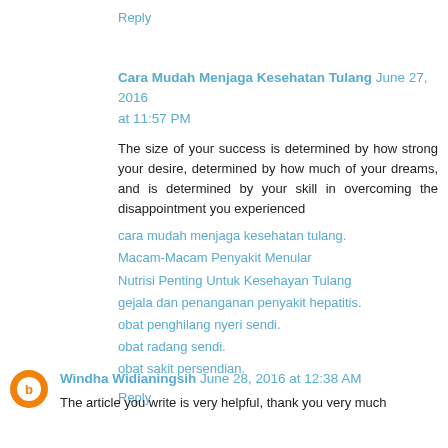Reply
Cara Mudah Menjaga Kesehatan Tulang June 27, 2016 at 11:57 PM
The size of your success is determined by how strong your desire, determined by how much of your dreams, and is determined by your skill in overcoming the disappointment you experienced
cara mudah menjaga kesehatan tulang.
Macam-Macam Penyakit Menular
Nutrisi Penting Untuk Kesehayan Tulang
gejala dan penanganan penyakit hepatitis.
obat penghilang nyeri sendi.
obat radang sendi.
obat sakit persendian.
Reply
Windha Widianingsih June 28, 2016 at 12:38 AM
The article you write is very helpful, thank you very much